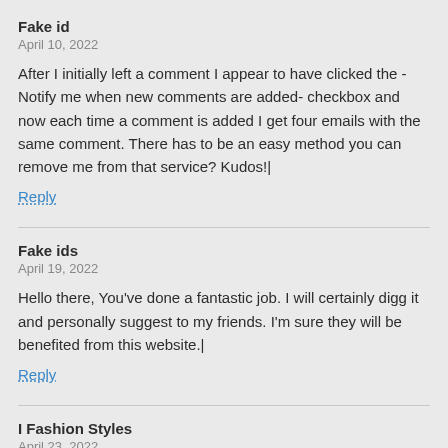Fake id
April 10, 2022
After I initially left a comment I appear to have clicked the -Notify me when new comments are added- checkbox and now each time a comment is added I get four emails with the same comment. There has to be an easy method you can remove me from that service? Kudos!|
Reply
Fake ids
April 19, 2022
Hello there, You've done a fantastic job. I will certainly digg it and personally suggest to my friends. I'm sure they will be benefited from this website.|
Reply
I Fashion Styles
April 23, 2022